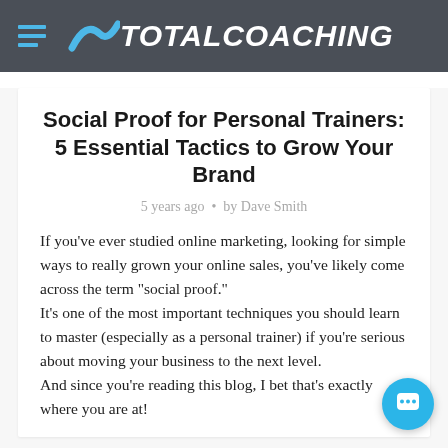[Figure (logo): TotalCoaching logo with hamburger menu icon on dark grey header bar]
Social Proof for Personal Trainers: 5 Essential Tactics to Grow Your Brand
5 years ago • by Dave Smith
If you've ever studied online marketing, looking for simple ways to really grown your online sales, you've likely come across the term "social proof."
It's one of the most important techniques you should learn to master (especially as a personal trainer) if you're serious about moving your business to the next level.
And since you're reading this blog, I bet that's exactly where you are at!